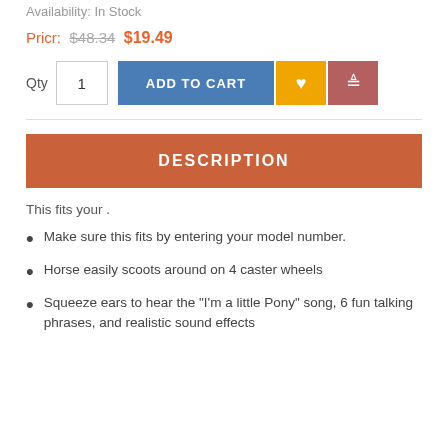Availability: In Stock
Price: $48.34 $19.49
Qty 1 ADD TO CART
DESCRIPTION
This fits your .
Make sure this fits by entering your model number.
Horse easily scoots around on 4 caster wheels
Squeeze ears to hear the "I'm a little Pony" song, 6 fun talking phrases, and realistic sound effects